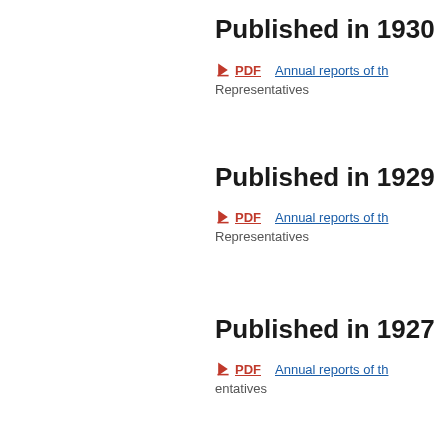Published in 1930
PDF   Annual reports of th
Representatives
Published in 1929
PDF   Annual reports of th
Representatives
Published in 1927
PDF   Annual reports of th
entatives
Published in 1926
Annual reports of th
entatives
Published in 1925
We use cookies to help provide and enhance our service and tailor content. By closing this message, you agree to the use of cookies.
Close